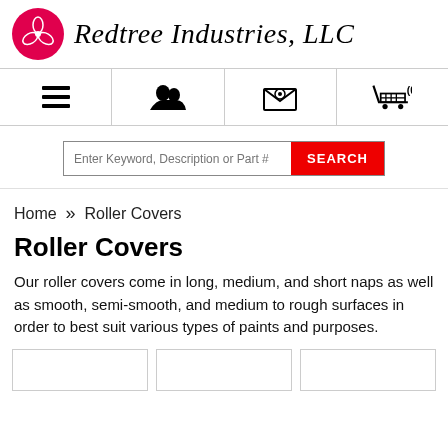[Figure (logo): Redtree Industries, LLC logo with red circle icon and italic brand name]
[Figure (infographic): Navigation bar with hamburger menu, user accounts icon, email/contact icon, and shopping cart icon showing (0) items]
[Figure (screenshot): Search bar with text input placeholder 'Enter Keyword, Description or Part #' and red SEARCH button]
Home  »  Roller Covers
Roller Covers
Our roller covers come in long, medium, and short naps as well as smooth, semi-smooth, and medium to rough surfaces in order to best suit various types of paints and purposes.